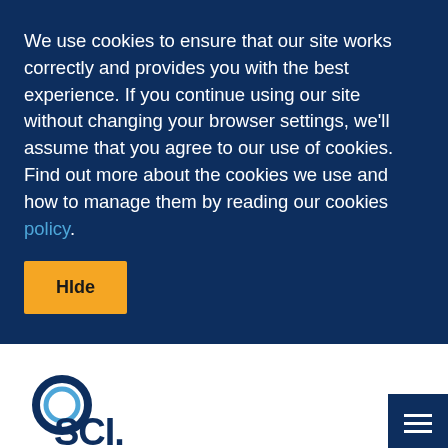We use cookies to ensure that our site works correctly and provides you with the best experience. If you continue using our site without changing your browser settings, we'll assume that you agree to our use of cookies. Find out more about the cookies we use and how to manage them by reading our cookies policy.
[Figure (screenshot): Yellow 'Hide' button]
[Figure (logo): SCI logo - circle with SCI text, tagline 'where science meets business']
[Figure (other): Hamburger menu icon on dark blue background]
HOME / NEWS / SUMMARY OF ENVIRONMENT GROUP BSI ACTIVITY IMPACT
[Figure (photo): Dark bokeh background with colorful light orbs in purple, pink, orange, teal]